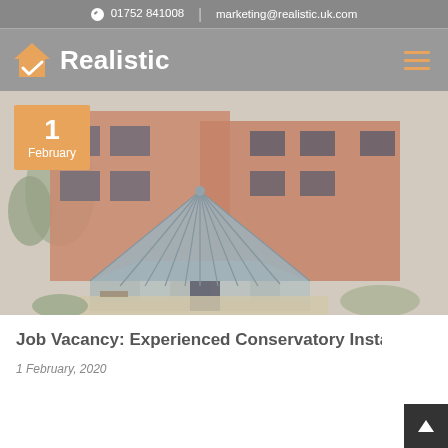01752 841008 | marketing@realistic.uk.com
[Figure (logo): Realistic logo with orange house checkmark icon and white bold text 'Realistic' on grey background, with hamburger menu icon on right]
[Figure (photo): Aerial/overhead photo of a conservatory with grey conical roof attached to a brick house, garden surrounding it, date badge showing '1 February' in orange overlay on top-left]
Job Vacancy: Experienced Conservatory Insta
1 February, 2020